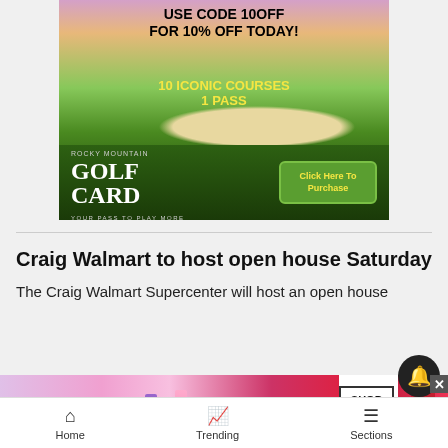[Figure (infographic): Rocky Mountain Golf Card advertisement banner. Top text: 'USE CODE 10OFF FOR 10% OFF TODAY!' over a sunset sky. Middle text: '10 ICONIC COURSES 1 PASS' in yellow over a golf course image. Bottom dark green section with 'ROCKY MOUNTAIN GOLF CARD YOUR PASS TO PLAY MORE' and a 'Click Here To Purchase' button.]
Craig Walmart to host open house Saturday
The Craig Walmart Supercenter will host an open house
[Figure (photo): MAC cosmetics advertisement showing lipsticks in various colors with MAC logo and SHOP NOW button.]
Home   Trending   Sections